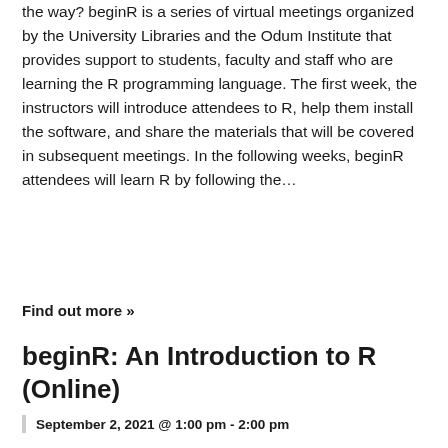the way? beginR is a series of virtual meetings organized by the University Libraries and the Odum Institute that provides support to students, faculty and staff who are learning the R programming language. The first week, the instructors will introduce attendees to R, help them install the software, and share the materials that will be covered in subsequent meetings. In the following weeks, beginR attendees will learn R by following the…
Find out more »
beginR: An Introduction to R (Online)
September 2, 2021 @ 1:00 pm - 2:00 pm